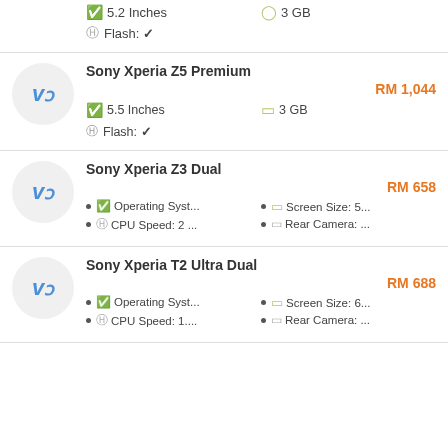5.2 Inches | 3 GB | Flash: ✔
Sony Xperia Z5 Premium
RM 1,044
5.5 Inches | 3 GB | Flash: ✔
Sony Xperia Z3 Dual
RM 658
Operating Syst... | Screen Size: 5... | CPU Speed: 2 ... | Rear Camera: ...
Sony Xperia T2 Ultra Dual
RM 688
Operating Syst... | Screen Size: 6... | CPU Speed: 1.... | Rear Camera: ...